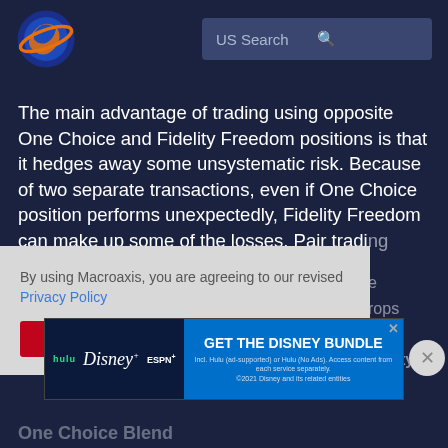[Figure (logo): Macroaxis globe logo — orange and blue circular planet icon]
US Search
The main advantage of trading using opposite One Choice and Fidelity Freedom positions is that it hedges away some unsystematic risk. Because of two separate transactions, even if One Choice position performs unexpectedly, Fidelity Freedom can make up some of the losses. Pair trading also minimizes opportunity cost and reduces risk in Fidelity...
By using Macroaxis, you are agreeing to our revised Privacy Policy
OK
[Figure (screenshot): Disney Bundle advertisement banner: hulu, Disney+, ESPN+ logos with GET THE DISNEY BUNDLE call to action. Incl. Hulu (ad-supported) or Hulu (No Ads). Access content from each service separately. ©2021 Disney and its related entities]
One Choice Blend